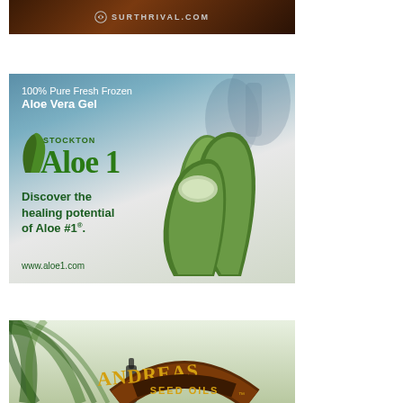[Figure (advertisement): Surthrival.com advertisement banner with dark brown/red background and grey text showing SURTHRIVAL.COM with a circular logo icon]
[Figure (advertisement): Stockton Aloe 1 advertisement. Blue/grey background with aloe vera plant images. Text: '100% Pure Fresh Frozen Aloe Vera Gel', 'STOCKTON Aloe 1', 'Discover the healing potential of Aloe #1.', 'www.aloe1.com']
[Figure (advertisement): Andreas Seed Oils advertisement with palm leaf background and stylized brown arch logo with gold text reading 'ANDREAS SEED OILS']